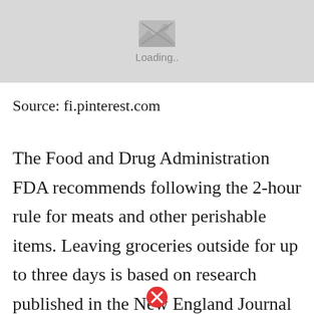[Figure (other): Image placeholder with loading indicator showing a grey box with a broken image icon and 'Loading..' text]
Source: fi.pinterest.com
The Food and Drug Administration FDA recommends following the 2-hour rule for meats and other perishable items. Leaving groceries outside for up to three days is based on research published in the New England Journal of Medicine showing the